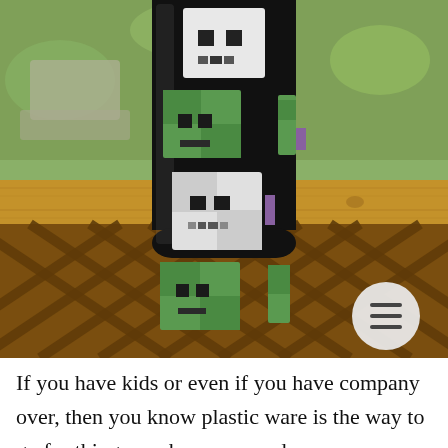[Figure (photo): A black water bottle with Minecraft character pixel art faces (green zombies and white skeletons) sitting on a wooden deck railing, with a lattice fence and grassy yard in the background. A circular menu icon (hamburger button) is visible in the lower right of the image.]
If you have kids or even if you have company over, then you know plastic ware is the way to go for things, such as cups and